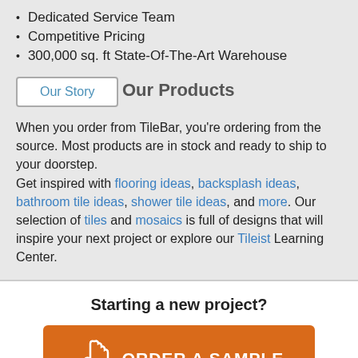Dedicated Service Team
Competitive Pricing
300,000 sq. ft State-Of-The-Art Warehouse
Our Story
Our Products
When you order from TileBar, you're ordering from the source. Most products are in stock and ready to ship to your doorstep. Get inspired with flooring ideas, backsplash ideas, bathroom tile ideas, shower tile ideas, and more. Our selection of tiles and mosaics is full of designs that will inspire your next project or explore our Tileist Learning Center.
Starting a new project?
[Figure (other): Orange button with hand pointer icon and text ORDER A SAMPLE]
Get 5 samples for $5. Ships Free in 1-3 Days!